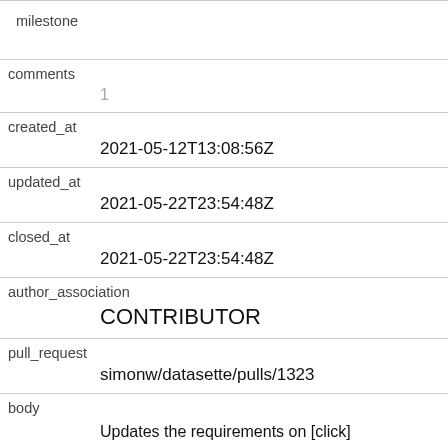| field | value |
| --- | --- |
| milestone |  |
| comments | 1 |
| created_at | 2021-05-12T13:08:56Z |
| updated_at | 2021-05-22T23:54:48Z |
| closed_at | 2021-05-22T23:54:48Z |
| author_association | CONTRIBUTOR |
| pull_request | simonw/datasette/pulls/1323 |
| body | Updates the requirements on [click](https://github.com/pallets/click) to permit the latest version.
<details>
<summary>Release notes</summary> |